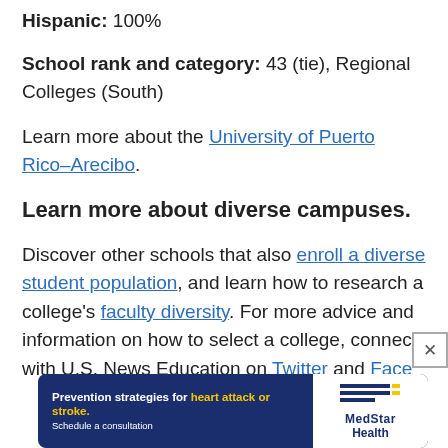Hispanic: 100%
School rank and category: 43 (tie), Regional Colleges (South)
Learn more about the University of Puerto Rico–Arecibo.
Learn more about diverse campuses.
Discover other schools that also enroll a diverse student population, and learn how to research a college's faculty diversity. For more advice and information on how to select a college, connect with U.S. News Education on Twitter and Face[book]
[Figure (other): Advertisement banner: MedStar Health — Prevention strategies for heart attack or stroke. Schedule a consultation.]